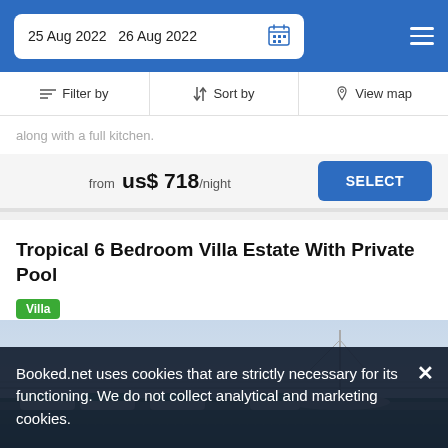25 Aug 2022  26 Aug 2022
Filter by  Sort by  View map
along with a full kitchen.
from  us$ 718/night
Tropical 6 Bedroom Villa Estate With Private Pool
Villa
[Figure (photo): Aerial/elevated view of a villa or dock area with teal lounge chairs and a sailboat mast visible against a pale sky]
Booked.net uses cookies that are strictly necessary for its functioning. We do not collect analytical and marketing cookies.